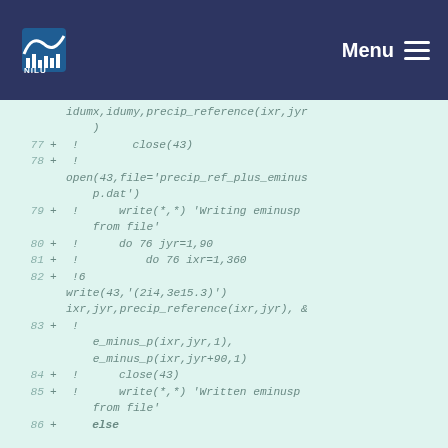NILU logo and Menu navigation
[Figure (screenshot): Code diff view showing Fortran source lines 77-86 with line numbers and +/! prefixes on a light green background]
idumx,idumy,precip_reference(ixr,jyr
    )
77  + !        close(43)
78  + !
open(43,file='precip_ref_plus_eminus
    p.dat')
79  + !      write(*,*) 'Writing eminusp
    from file'
80  + !      do 76 jyr=1,90
81  + !          do 76 ixr=1,360
82  + !6
write(43,'(2i4,3e15.3)')
ixr,jyr,precip_reference(ixr,jyr), &
83  + !
e_minus_p(ixr,jyr,1),
    e_minus_p(ixr,jyr+90,1)
84  + !      close(43)
85  + !      write(*,*) 'Written eminusp
    from file'
86  +    else